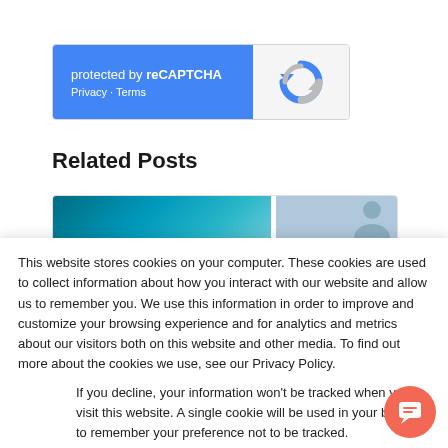[Figure (logo): reCAPTCHA widget with blue left panel showing 'protected by reCAPTCHA' and 'Privacy · Terms', and gray right panel with reCAPTCHA logo icon]
Related Posts
[Figure (photo): Partial card strip showing two image thumbnails: a teal/blue gradient on the left and a person silhouette on the right]
This website stores cookies on your computer. These cookies are used to collect information about how you interact with our website and allow us to remember you. We use this information in order to improve and customize your browsing experience and for analytics and metrics about our visitors both on this website and other media. To find out more about the cookies we use, see our Privacy Policy.
If you decline, your information won't be tracked when you visit this website. A single cookie will be used in your browser to remember your preference not to be tracked.
Accept    Decline